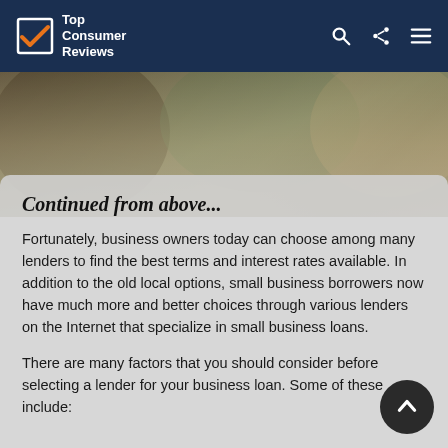Top Consumer Reviews
[Figure (screenshot): Photo strip showing people, blurred background with plants and a smiling person]
Continued from above...
Fortunately, business owners today can choose among many lenders to find the best terms and interest rates available. In addition to the old local options, small business borrowers now have much more and better choices through various lenders on the Internet that specialize in small business loans.
There are many factors that you should consider before selecting a lender for your business loan. Some of these include: